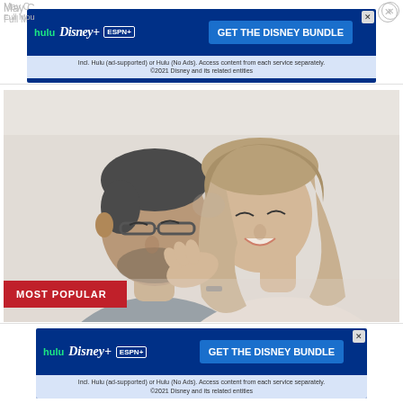May C... Full Mou...
[Figure (screenshot): Disney Bundle advertisement banner with Hulu, Disney+, and ESPN+ logos and blue background, with subtext about content access]
[Figure (photo): Couple leaning their heads together and laughing, man with glasses and grey shirt, woman with long hair, with 'MOST POPULAR' red badge overlay]
100 Reasons Why I Love You List
Date Mix
[Figure (screenshot): Disney Bundle advertisement banner at bottom with Hulu, Disney+, and ESPN+ logos]